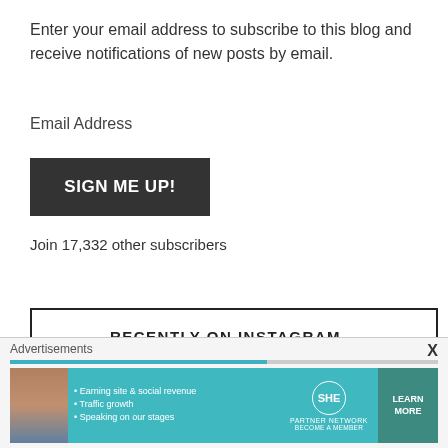Enter your email address to subscribe to this blog and receive notifications of new posts by email.
Email Address
[Figure (other): Dark button with white bold text reading SIGN ME UP!]
Join 17,332 other subscribers
RECENTLY ON INSTAGRAM...
[Figure (photo): Partial Instagram images visible at bottom of page]
Advertisements
[Figure (infographic): SHE Partner Network advertisement banner with teal background. Bullet points: Earning site & social revenue, Traffic growth, Speaking on our stages. Logo with SHE PARTNER NETWORK BECOME A MEMBER text. LEARN MORE button.]